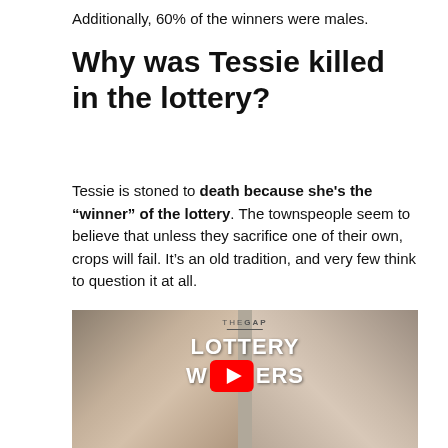Additionally, 60% of the winners were males.
Why was Tessie killed in the lottery?
Tessie is stoned to death because she's the “winner” of the lottery. The townspeople seem to believe that unless they sacrifice one of their own, crops will fail. It’s an old tradition, and very few think to question it at all.
[Figure (screenshot): YouTube video thumbnail showing two men's faces on either side with text 'THE GAP LOTTERY WINNERS' and a YouTube play button in the center.]